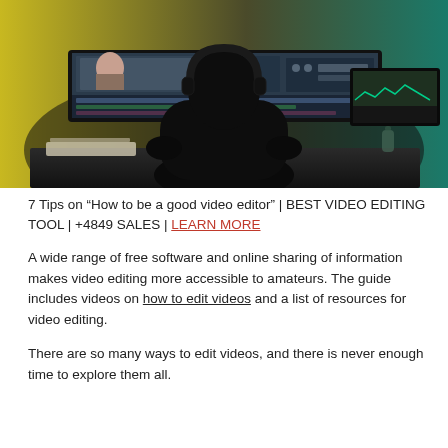[Figure (photo): A silhouetted video editor sitting at a desk with multiple monitors showing video editing software, against a yellow-green gradient background.]
7 Tips on “How to be a good video editor” | BEST VIDEO EDITING TOOL | +4849 SALES | LEARN MORE
A wide range of free software and online sharing of information makes video editing more accessible to amateurs. The guide includes videos on how to edit videos and a list of resources for video editing.
There are so many ways to edit videos, and there is never enough time to explore them all.